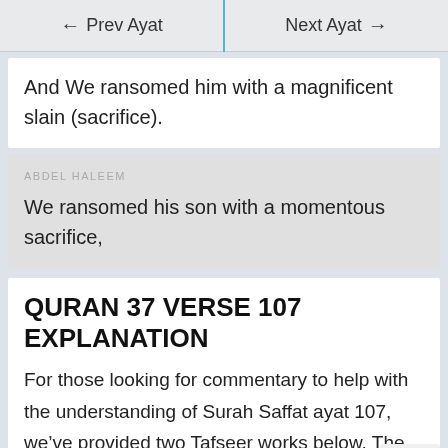← Prev Ayat   Next Ayat →
And We ransomed him with a magnificent slain (sacrifice).
ABDEL HALEEM
We ransomed his son with a momentous sacrifice,
QURAN 37 VERSE 107 EXPLANATION
For those looking for commentary to help with the understanding of Surah Saffat ayat 107, we've provided two Tafseer works below. The first is the tafseer of